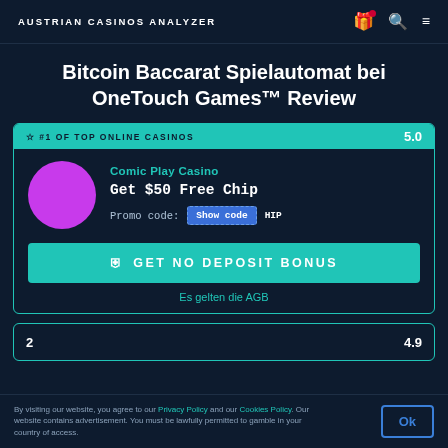AUSTRIAN CASINOS ANALYZER
Bitcoin Baccarat Spielautomat bei OneTouch Games™ Review
[Figure (infographic): Casino card for Comic Play Casino. #1 OF TOP ONLINE CASINOS badge, score 5.0, purple circle logo, Get $50 Free Chip offer, Promo code: Show code HIP button, GET NO DEPOSIT BONUS CTA button, Es gelten die AGB footer text.]
2   4.9
By visiting our website, you agree to our Privacy Policy and our Cookies Policy. Our website contains advertisement. You must be lawfully permitted to gamble in your country of access.